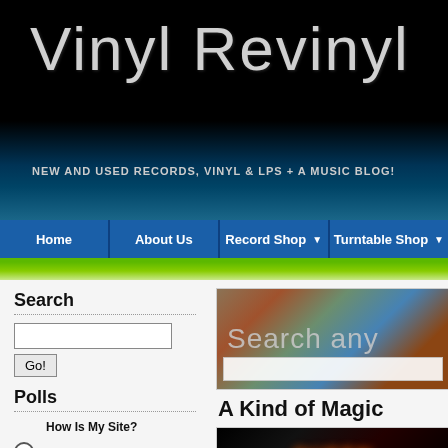Vinyl Revinyl
NEW AND USED RECORDS, VINYL & LPS + A MUSIC BLOG!
Home | About Us | Record Shop | Turntable Shop
Search
[Figure (screenshot): Search banner with colorful record spines background, text 'Search any' and a search input box]
A Kind of Magic
Polls
How Is My Site?
Good
Excellent
It's OK
[Figure (photo): Queen band logo on dark background with colorful text]